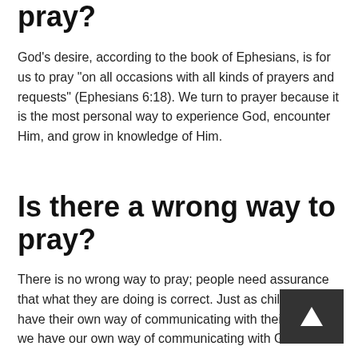pray?
God’s desire, according to the book of Ephesians, is for us to pray “on all occasions with all kinds of prayers and requests” (Ephesians 6:18). We turn to prayer because it is the most personal way to experience God, encounter Him, and grow in knowledge of Him.
Is there a wrong way to pray?
There is no wrong way to pray; people need assurance that what they are doing is correct. Just as children each have their own way of communicating with their parents, we have our own way of communicating with God.